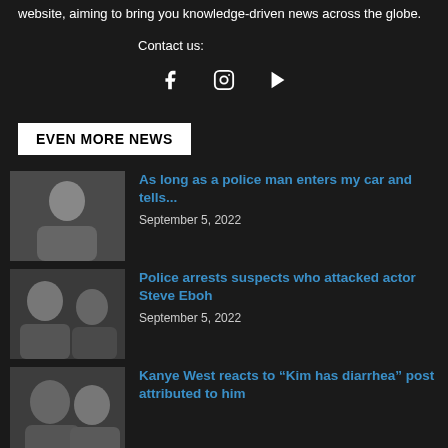website, aiming to bring you knowledge-driven news across the globe.
Contact us:
[Figure (other): Social media icons: Facebook, Instagram, YouTube]
EVEN MORE NEWS
[Figure (photo): Portrait of a man in a denim jacket with dreadlocks]
As long as a police man enters my car and tells...
September 5, 2022
[Figure (photo): Two people side by side — a man and a child with head injury visible]
Police arrests suspects who attacked actor Steve Eboh
September 5, 2022
[Figure (photo): Man and woman outdoors — Kanye West and a woman]
Kanye West reacts to “Kim has diarrhea” post attributed to him